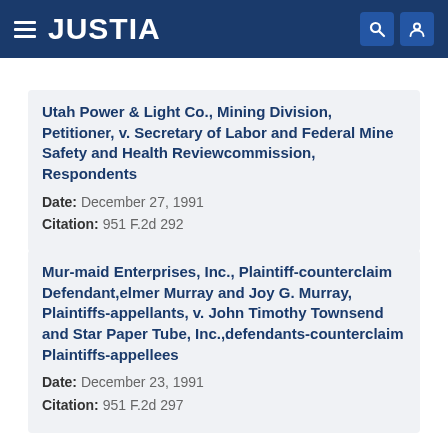JUSTIA
Utah Power & Light Co., Mining Division, Petitioner, v. Secretary of Labor and Federal Mine Safety and Health Reviewcommission, Respondents
Date: December 27, 1991
Citation: 951 F.2d 292
Mur-maid Enterprises, Inc., Plaintiff-counterclaim Defendant,elmer Murray and Joy G. Murray, Plaintiffs-appellants, v. John Timothy Townsend and Star Paper Tube, Inc.,defendants-counterclaim Plaintiffs-appellees
Date: December 23, 1991
Citation: 951 F.2d 297